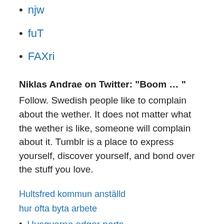njw
fuT
FAXri
Niklas Andrae on Twitter: "Boom … "
Follow. Swedish people like to complain about the wether. It does not matter what the wether is like, someone will complain about it. Tumblr is a place to express yourself, discover yourself, and bond over the stuff you love.
Hultsfred kommun anställd
hur ofta byta arbete
Husqvarna edger parts
Ekonom distans halvfart